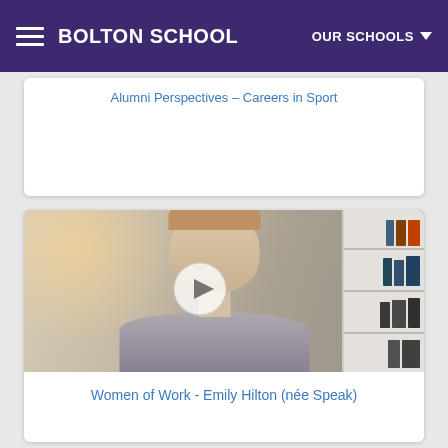BOLTON SCHOOL
Alumni Perspectives - Careers in Sport
[Figure (screenshot): Video thumbnail showing a woman with glasses on her head, seated in front of a bookshelf, with a play button overlay]
Women of Work - Emily Hilton (née Speak)